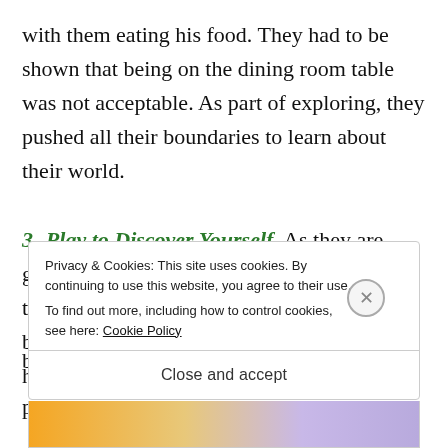with them eating his food. They had to be shown that being on the dining room table was not acceptable. As part of exploring, they pushed all their boundaries to learn about their world.
3- Play to Discover Yourself. As they are growing, they play with each other and by themselves. In doing so, they develop their bodies and who they are. Casey and Daisy have b… p…
Privacy & Cookies: This site uses cookies. By continuing to use this website, you agree to their use.
To find out more, including how to control cookies, see here: Cookie Policy
Close and accept